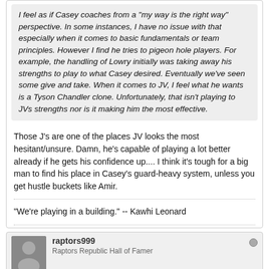I feel as if Casey coaches from a "my way is the right way" perspective. In some instances, I have no issue with that especially when it comes to basic fundamentals or team principles. However I find he tries to pigeon hole players. For example, the handling of Lowry initially was taking away his strengths to play to what Casey desired. Eventually we've seen some give and take. When it comes to JV, I feel what he wants is a Tyson Chandler clone. Unfortunately, that isn't playing to JVs strengths nor is it making him the most effective.
Those J's are one of the places JV looks the most hesitant/unsure. Damn, he's capable of playing a lot better already if he gets his confidence up.... I think it's tough for a big man to find his place in Casey's guard-heavy system, unless you get hustle buckets like Amir.
"We're playing in a building." -- Kawhi Leonard
raptors999
Raptors Republic Hall of Famer